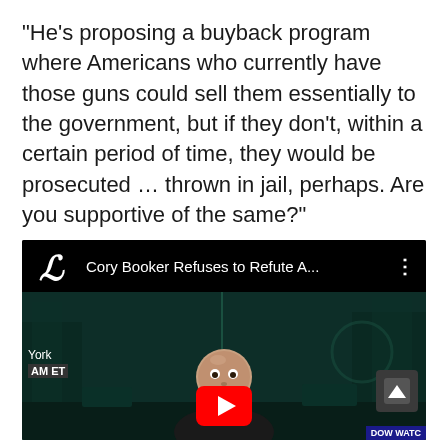“He’s proposing a buyback program where Americans who currently have those guns could sell them essentially to the government, but if they don’t, within a certain period of time, they would be prosecuted … thrown in jail, perhaps. Are you supportive of the same?”
[Figure (screenshot): YouTube video thumbnail showing a bald man (Cory Booker) with a dark teal-tinted background of a street scene. The video title reads 'Cory Booker Refuses to Refute A...' with a YouTube logo (ornate L letter) on the left. Location tag shows 'York' and 'AM ET'. A red YouTube play button is visible at the bottom center. A scroll-up button appears at bottom right. 'DOW WATC' text visible at bottom right corner.]